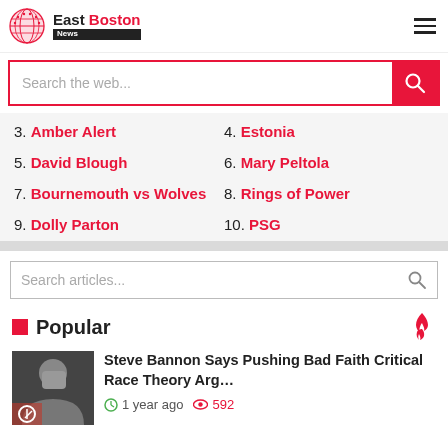East Boston News
Search the web...
3. Amber Alert
4. Estonia
5. David Blough
6. Mary Peltola
7. Bournemouth vs Wolves
8. Rings of Power
9. Dolly Parton
10. PSG
Search articles...
Popular
Steve Bannon Says Pushing Bad Faith Critical Race Theory Arg... 1 year ago 592